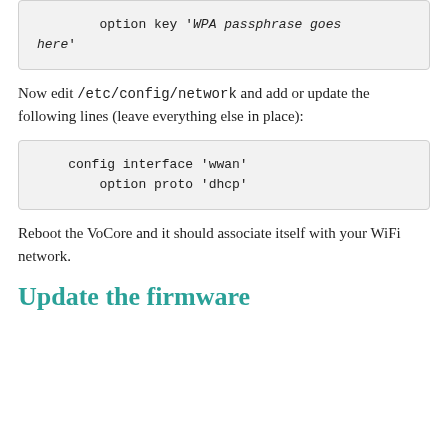option key 'WPA passphrase goes here'
Now edit /etc/config/network and add or update the following lines (leave everything else in place):
config interface 'wwan'
    option proto 'dhcp'
Reboot the VoCore and it should associate itself with your WiFi network.
Update the firmware